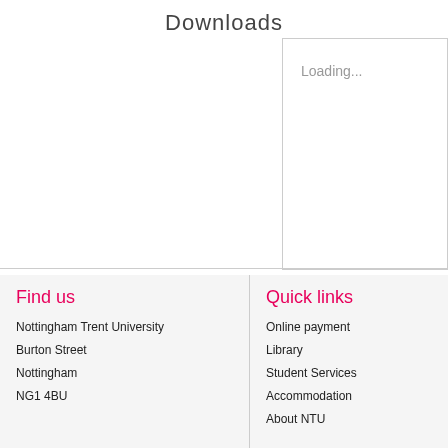Downloads
Loading...
Find us
Nottingham Trent University
Burton Street
Nottingham
NG1 4BU
Quick links
Online payment
Library
Student Services
Accommodation
About NTU